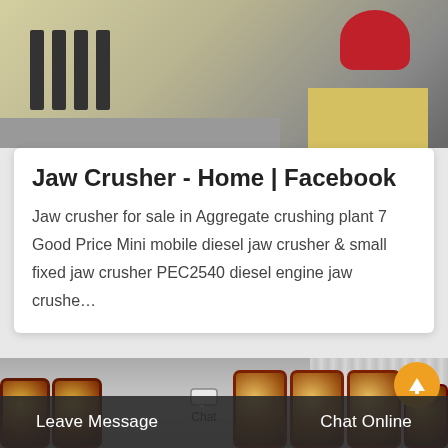[Figure (photo): Close-up photo of industrial jaw crusher machine parts, showing metal shafts/bolts in dark color, yellow/beige machine body, and a red circular component]
Jaw Crusher - Home | Facebook
Jaw crusher for sale in Aggregate crushing plant 7 Good Price Mini mobile diesel jaw crusher & small fixed jaw crusher PEC2540 diesel engine jaw crushe…
[Figure (photo): Photo of industrial jaw crusher equipment inside a factory/warehouse showing large industrial drums/rollers in yellow/brown colors, factory interior with corrugated metal walls, with a Chat overlay icon and an orange up-arrow button]
Leave Message
Chat Online